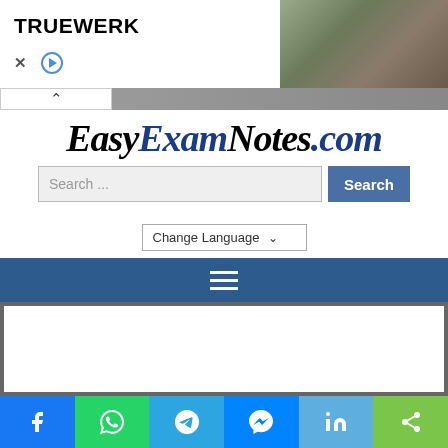[Figure (screenshot): Advertisement banner showing TRUEWERK brand text on left and a photo of a person working outdoors on right, with close/play controls]
[Figure (logo): EasyExamNotes.com website logo in italic serif font, black and dark blue]
Search ...
Change Language
[Figure (screenshot): Dark blue navigation bar with hamburger menu icon (three white horizontal lines)]
[Figure (screenshot): White content area with dark gray border]
[Figure (screenshot): Social sharing bar with Facebook, WhatsApp, Telegram, Messenger, LinkedIn, and share buttons]